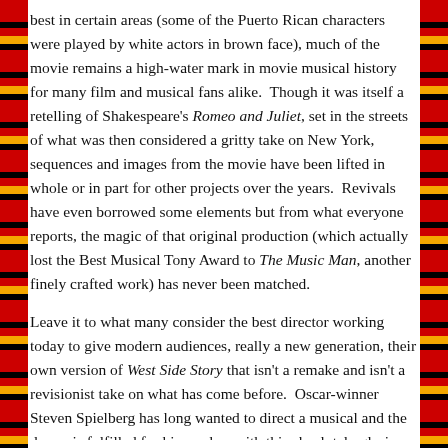best in certain areas (some of the Puerto Rican characters were played by white actors in brown face), much of the movie remains a high-water mark in movie musical history for many film and musical fans alike. Though it was itself a retelling of Shakespeare's Romeo and Juliet, set in the streets of what was then considered a gritty take on New York, sequences and images from the movie have been lifted in whole or in part for other projects over the years. Revivals have even borrowed some elements but from what everyone reports, the magic of that original production (which actually lost the Best Musical Tony Award to The Music Man, another finely crafted work) has never been matched.

Leave it to what many consider the best director working today to give modern audiences, really a new generation, their own version of West Side Story that isn't a remake and isn't a revisionist take on what has come before. Oscar-winner Steven Spielberg has long wanted to direct a musical and the dream is fulfilled for him and us with this absolutely glorious re-interpretation of West Side Story that breathes new life into a show that's well over 60 years old. With a new script from